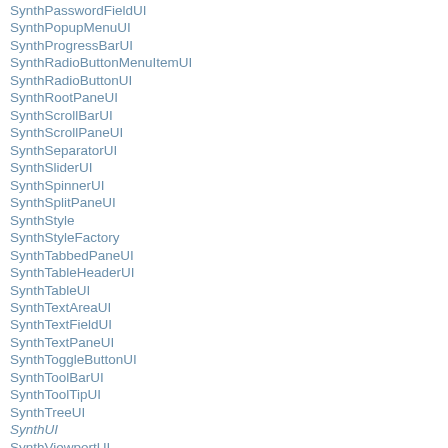SynthPasswordFieldUI
SynthPopupMenuUI
SynthProgressBarUI
SynthRadioButtonMenuItemUI
SynthRadioButtonUI
SynthRootPaneUI
SynthScrollBarUI
SynthScrollPaneUI
SynthSeparatorUI
SynthSliderUI
SynthSpinnerUI
SynthSplitPaneUI
SynthStyle
SynthStyleFactory
SynthTabbedPaneUI
SynthTableHeaderUI
SynthTableUI
SynthTextAreaUI
SynthTextFieldUI
SynthTextPaneUI
SynthToggleButtonUI
SynthToolBarUI
SynthToolTipUI
SynthTreeUI
SynthUI
SynthViewportUI
SysexMessage
System